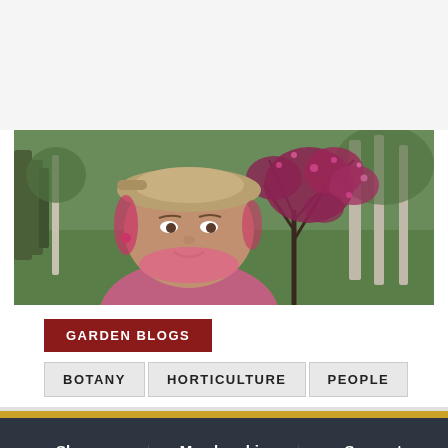[Figure (photo): A woman wearing a tan flat cap and pink scarf, smiling outdoors near a shrub with reddish-purple leaves and pink flowers. Green grassy field and trees in the background.]
GARDEN BLOGS
BOTANY
HORTICULTURE
PEOPLE
Shop | Membership | Support